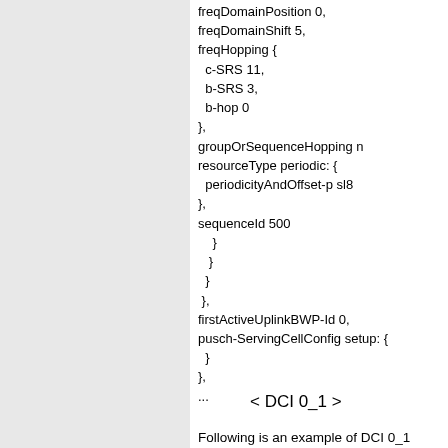freqDomainPosition 0,
freqDomainShift 5,
freqHopping {
  c-SRS 11,
  b-SRS 3,
  b-hop 0
},
groupOrSequenceHopping n
resourceType periodic: {
  periodicityAndOffset-p sl80
},
sequenceId 500
}
}
}
},
firstActiveUplinkBWP-Id 0,
pusch-ServingCellConfig setup: {
}
},
...
< DCI 0_1 >
Following is an example of DCI 0_1 transmitted b... codebookSubset = nonCoherent, transform precod...